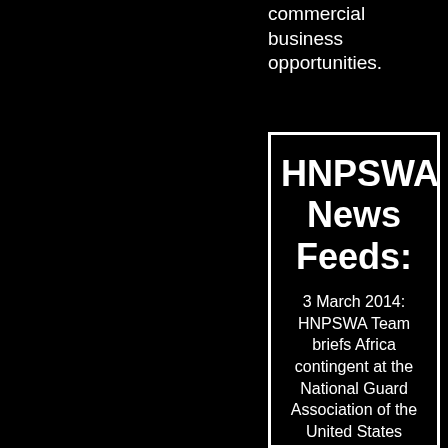commercial business opportunities.
HNPSWA News Feeds:
3 March 2014: HNPSWA Team briefs Africa contingent at the National Guard Association of the United States (NGAUS) at the NGAUS Museum in Washington DC on economic and security stabilization